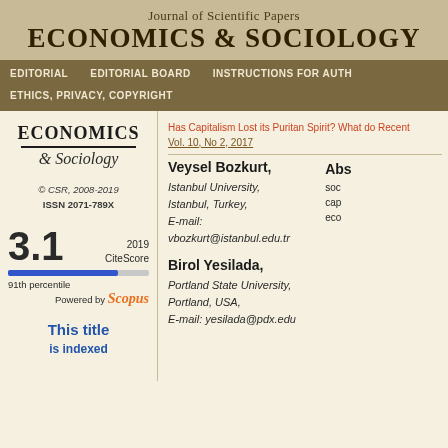Journal of Scientific Papers
ECONOMICS & SOCIOLOGY
EDITORIAL   EDITORIAL BOARD   INSTRUCTIONS FOR AUTHORS
ETHICS, PRIVACY, COPYRIGHT
[Figure (logo): ECONOMICS & Sociology journal logo]
© CSR, 2008-2019
ISSN 2071-789X
3.1   2019 CiteScore
91th percentile
Powered by Scopus
This title
Has Capitalism Lost its Puritan Spirit? What do Recent...
Vol. 10, No 2, 2017
Veysel Bozkurt,
Istanbul University,
Istanbul, Turkey,
E-mail: vbozkurt@istanbul.edu.tr
Birol Yesilada,
Portland State University,
Portland, USA,
E-mail: yesilada@pdx.edu
Abstract
soc
cap
eco